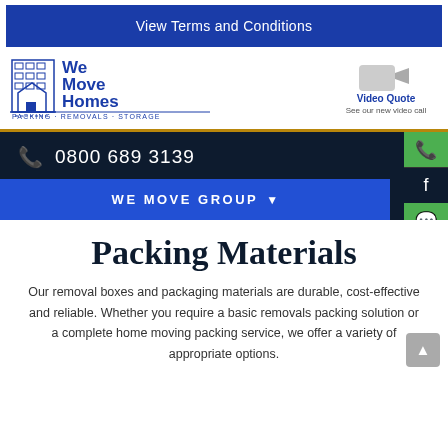View Terms and Conditions
[Figure (logo): We Move Homes logo with building illustration and tagline: PACKING - REMOVALS - STORAGE]
[Figure (infographic): Video Quote icon with text: See our new video call]
0800 689 3139
WE MOVE GROUP
Packing Materials
Our removal boxes and packaging materials are durable, cost-effective and reliable. Whether you require a basic removals packing solution or a complete home moving packing service, we offer a variety of appropriate options.